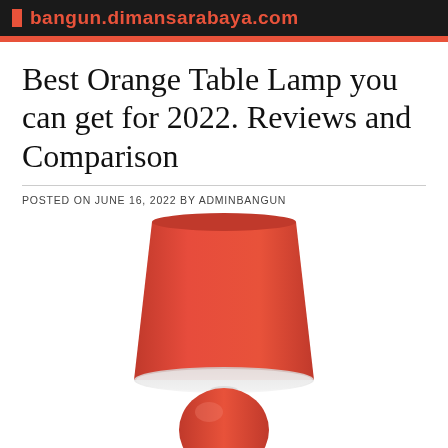bangun.dimansarabaya.com
Best Orange Table Lamp you can get for 2022. Reviews and Comparison
POSTED ON JUNE 16, 2022 BY ADMINBANGUN
[Figure (photo): An orange/red-orange table lamp with a wide trapezoid shade and a round spherical base, photographed on a white background]